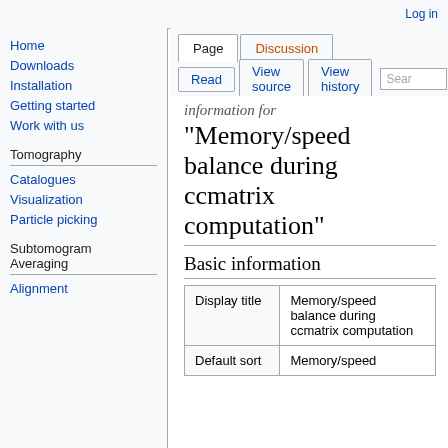Log in
Page | Discussion | Read | View source | View history | Search | Help
information for "Memory/speed balance during ccmatrix computation"
Basic information
|  |  |
| --- | --- |
| Display title | Memory/speed balance during ccmatrix computation |
| Default sort | Memory/speed |
Home
Downloads
Installation
Getting started
Work with us
Tomography
Catalogues
Visualization
Particle picking
Subtomogram Averaging
Alignment